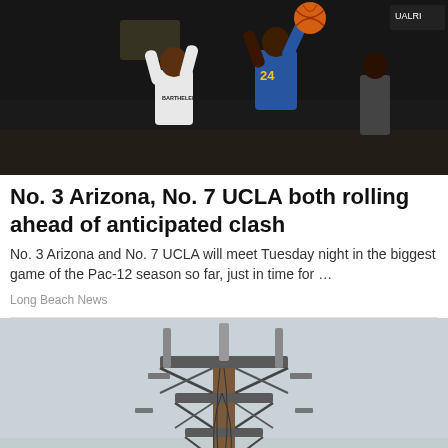[Figure (photo): Basketball game photo showing players including one with jersey 'BARTHELEMY' in white and a player in blue UCLA #24 jersey going up for a shot]
No. 3 Arizona, No. 7 UCLA both rolling ahead of anticipated clash
No. 3 Arizona and No. 7 UCLA will meet Tuesday night in the biggest game of the Pac-12 season so far, just in time for …
Long Beach News
[Figure (photo): Cell tower / telecommunications tower against a light grey sky, showing complex metal framework and antenna arrays]